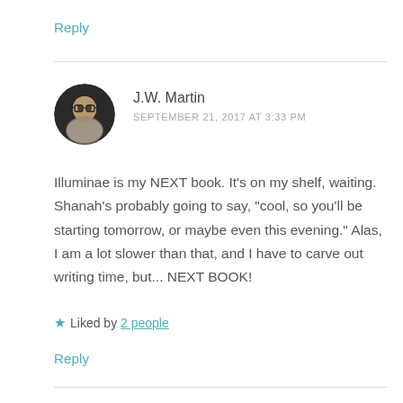Reply
[Figure (photo): Circular avatar photo of J.W. Martin, a person wearing glasses with hand near face, dark background]
J.W. Martin
SEPTEMBER 21, 2017 AT 3:33 PM
Illuminae is my NEXT book. It's on my shelf, waiting. Shanah's probably going to say, "cool, so you'll be starting tomorrow, or maybe even this evening." Alas, I am a lot slower than that, and I have to carve out writing time, but... NEXT BOOK!
★ Liked by 2 people
Reply